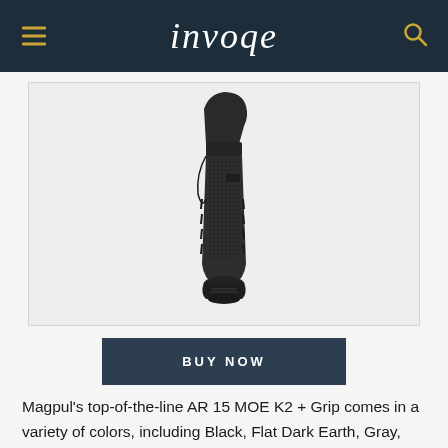invoqe
[Figure (photo): A black Magpul MOE K2+ AR-15 pistol grip photographed on a light gray background, showing textured grip surface with finger grooves and flat dark finish.]
BUY NOW
Magpul's top-of-the-line AR 15 MOE K2 + Grip comes in a variety of colors, including Black, Flat Dark Earth, Gray, and